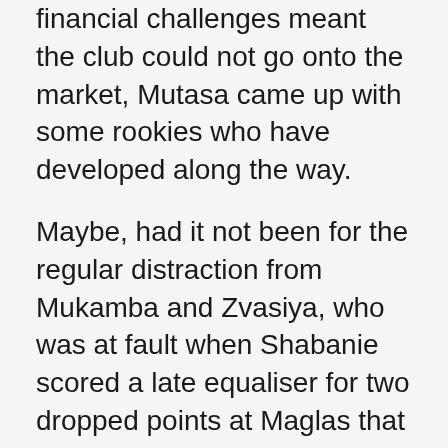financial challenges meant the club could not go onto the market, Mutasa came up with some rookies who have developed along the way.
Maybe, had it not been for the regular distraction from Mukamba and Zvasiya, who was at fault when Shabanie scored a late equaliser for two dropped points at Maglas that could prove crucial, the Glamour Boys could have been favourites for the league title going into this weekend. But, in a Miracle Season which saw the top-flight league embracing the Miracle Boys and fans seeing a Miracle Goal, the Dynamos fans believe something big will happen today and by the end of the battles, they will be top of the table.